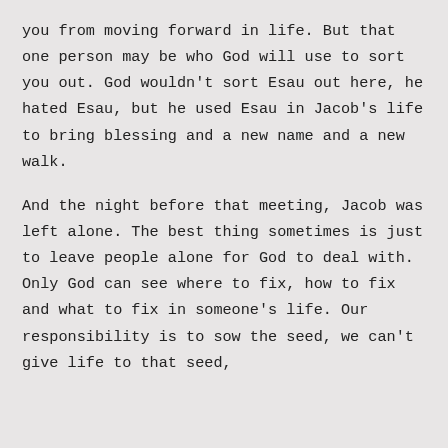you from moving forward in life. But that one person may be who God will use to sort you out. God wouldn't sort Esau out here, he hated Esau, but he used Esau in Jacob's life to bring blessing and a new name and a new walk.
And the night before that meeting, Jacob was left alone. The best thing sometimes is just to leave people alone for God to deal with. Only God can see where to fix, how to fix and what to fix in someone's life. Our responsibility is to sow the seed, we can't give life to that seed,